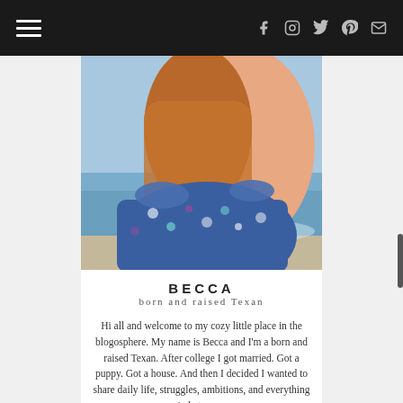Navigation bar with hamburger menu and social icons (Facebook, Instagram, Twitter, Pinterest, Email)
[Figure (photo): Woman with long auburn hair wearing a colorful patterned blue dress, photographed from behind/side at a beach]
BECCA
born and raised Texan
Hi all and welcome to my cozy little place in the blogosphere. My name is Becca and I'm a born and raised Texan. After college I got married. Got a puppy. Got a house. And then I decided I wanted to share daily life, struggles, ambitions, and everything in between.